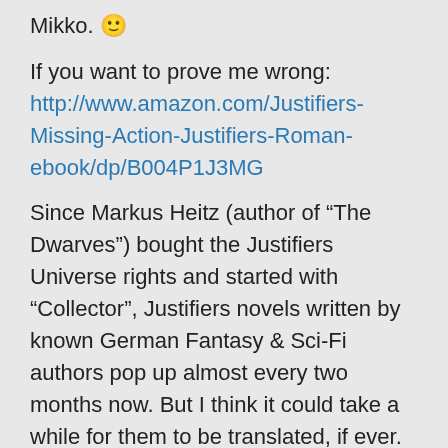Mikko. 🙂
If you want to prove me wrong:
http://www.amazon.com/Justifiers-Missing-Action-Justifiers-Roman-ebook/dp/B004P1J3MG
Since Markus Heitz (author of “The Dwarves”) bought the Justifiers Universe rights and started with “Collector”, Justifiers novels written by known German Fantasy & Sci-Fi authors pop up almost every two months now. But I think it could take a while for them to be translated, if ever.
Anyway, I think I will have a look at the Ganesha Games’ rules if you